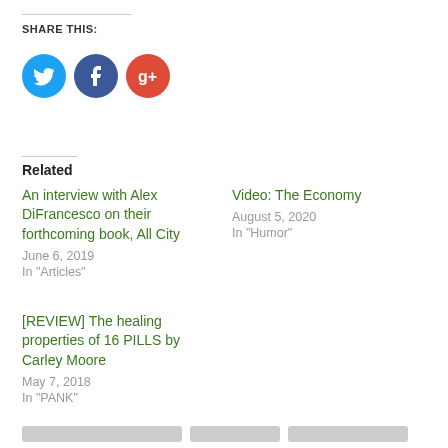SHARE THIS:
[Figure (illustration): Three social media icon circles: Twitter (blue bird), Facebook (dark blue f), Google+ (red g+)]
Related
An interview with Alex DiFrancesco on their forthcoming book, All City
June 6, 2019
In "Articles"
Video: The Economy
August 5, 2020
In "Humor"
[REVIEW] The healing properties of 16 PILLS by Carley Moore
May 7, 2018
In "PANK"